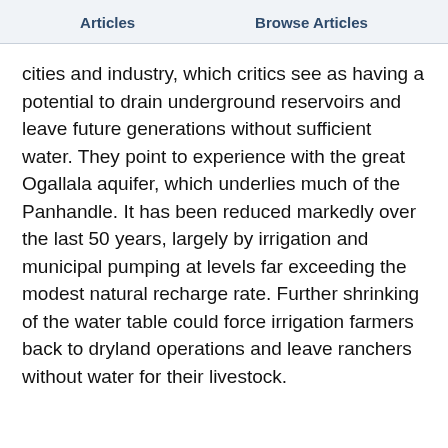Articles    Browse Articles
cities and industry, which critics see as having a potential to drain underground reservoirs and leave future generations without sufficient water. They point to experience with the great Ogallala aquifer, which underlies much of the Panhandle. It has been reduced markedly over the last 50 years, largely by irrigation and municipal pumping at levels far exceeding the modest natural recharge rate. Further shrinking of the water table could force irrigation farmers back to dryland operations and leave ranchers without water for their livestock.